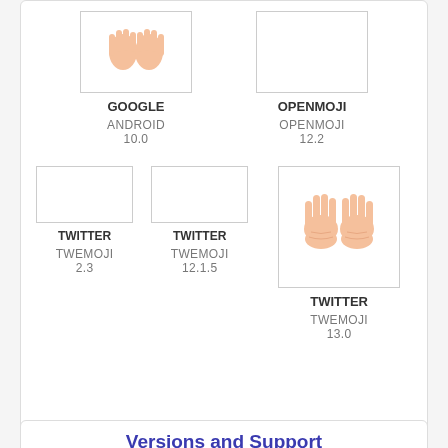[Figure (infographic): Emoji comparison grid showing Google Android 10.0, OpenMoji 12.2, Twitter Twemoji 2.3, Twitter Twemoji 12.1.5, and Twitter Twemoji 13.0 versions of an emoji with raised open hands]
Versions and Support
Google: Android 4.4 KitKat
Mozilla: FxEmojis 1.7.9
Android 5.1 Lollipop